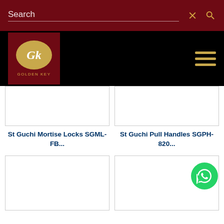Search
[Figure (logo): Golden Key logo with GK initials on gold oval, dark red background, text GOLDEN KEY below]
St Guchi Mortise Locks SGML-FB...
St Guchi Pull Handles SGPH-820...
[Figure (photo): Product image placeholder white box - bottom left]
[Figure (photo): Product image placeholder white box - bottom right with WhatsApp button]